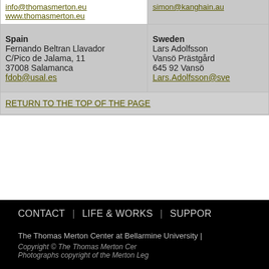| info@thomasmerton.eu
www.thomasmerton.eu | simon@kanghain.au |
| Spain
Fernando Beltran Llavador
C/Pico de Jalama, 11
37008 Salamanca
fdob@usal.es | Sweden
Lars Adolfsson
Vansö Prästgård
645 92 Vansö
Lars.Adolfsson@sve... |
RETURN TO THE TOP OF THE PAGE
CONTACT | LIFE & WORKS | SUPPORT
The Thomas Merton Center at Bellarmine University |
Copyright © The Thomas Merton Cer...
Photographs copyright of the Merton Leg...